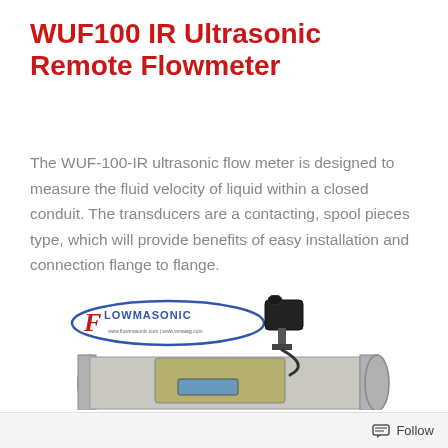WUF100 IR Ultrasonic Remote Flowmeter
The WUF-100-IR ultrasonic flow meter is designed to measure the fluid velocity of liquid within a closed conduit. The transducers are a contacting, spool pieces type, which will provide benefits of easy installation and connection flange to flange.
[Figure (photo): Product photo of a WUF100 IR Ultrasonic Remote Flowmeter showing a spool-piece style meter with flanged ends, a display/transmitter head mounted on top, and a Flowmasonic logo badge. The meter body is metallic with a green/tan enclosure housing the electronics.]
Follow